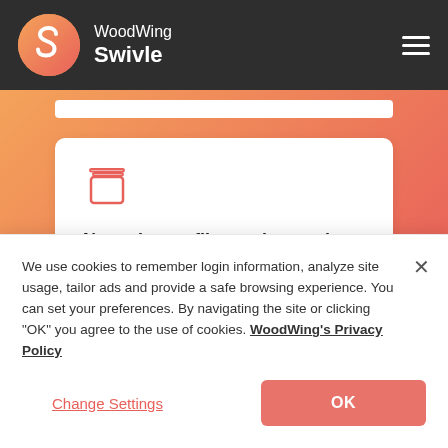[Figure (logo): WoodWing Swivle logo with S-shaped icon and brand name in white on dark header bar]
[Figure (screenshot): Gradient orange-to-red background section with white search bar strip and a white card showing a file/folder icon and headline 'Never lose a file version again']
We use cookies to remember login information, analyze site usage, tailor ads and provide a safe browsing experience. You can set your preferences. By navigating the site or clicking "OK" you agree to the use of cookies. WoodWing's Privacy Policy
Change Settings
OK